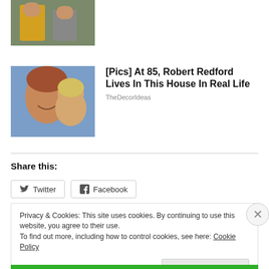[Figure (photo): Partial photo at top of page, two people outdoors]
[Figure (photo): Thumbnail photo of Robert Redford with a woman, smiling]
[Pics] At 85, Robert Redford Lives In This House In Real Life
TheDecorIdeas
Share this:
Twitter
Facebook
Privacy & Cookies: This site uses cookies. By continuing to use this website, you agree to their use.
To find out more, including how to control cookies, see here: Cookie Policy
Close and accept